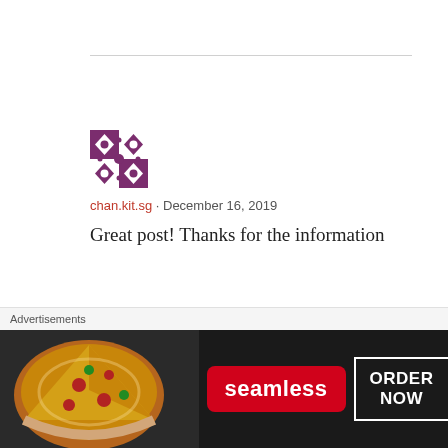[Figure (illustration): Decorative avatar/icon with purple and white geometric pattern for user chan.kit.sg]
chan.kit.sg · December 16, 2019
Great post! Thanks for the information
★ Liked by 1 person
Reply
[Figure (illustration): Second user avatar, partially visible at bottom]
Advertisements
[Figure (screenshot): Seamless food delivery advertisement banner with pizza image, Seamless logo in red, and ORDER NOW button]